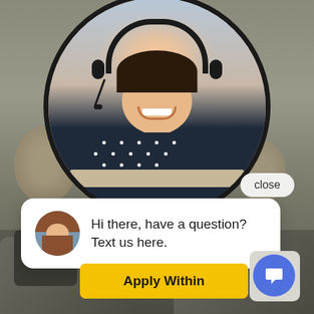[Figure (photo): A smiling woman wearing a headset and dark polka-dot shirt sitting at a laptop, shown in a large circular frame with black border. Background shows a living room with wall decorations.]
close
Hi there, have a question? Text us here.
Join our team of professionals!
Apply Within